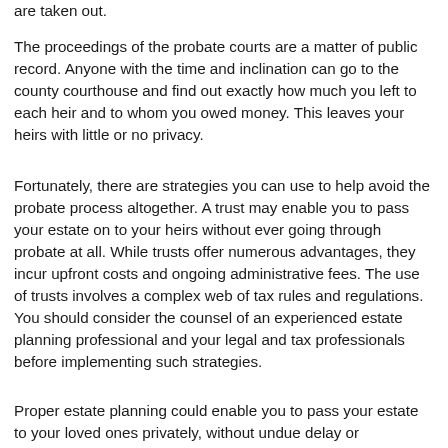are taken out.
The proceedings of the probate courts are a matter of public record. Anyone with the time and inclination can go to the county courthouse and find out exactly how much you left to each heir and to whom you owed money. This leaves your heirs with little or no privacy.
Fortunately, there are strategies you can use to help avoid the probate process altogether. A trust may enable you to pass your estate on to your heirs without ever going through probate at all. While trusts offer numerous advantages, they incur upfront costs and ongoing administrative fees. The use of trusts involves a complex web of tax rules and regulations. You should consider the counsel of an experienced estate planning professional and your legal and tax professionals before implementing such strategies.
Proper estate planning could enable you to pass your estate to your loved ones privately, without undue delay or